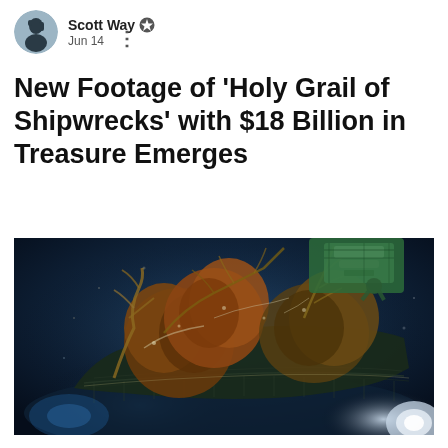Scott Way · Jun 14
New Footage of 'Holy Grail of Shipwrecks' with $18 Billion in Treasure Emerges
[Figure (photo): Underwater photograph of a shipwreck covered in coral, encrustation, and marine growth. The wreck appears in deep dark-blue water with a robotic arm or submersible equipment visible at the top. The corroded hull structure lies on the seafloor with dense biological colonisation and orange-brown coral formations. Bright lights illuminate parts of the scene.]